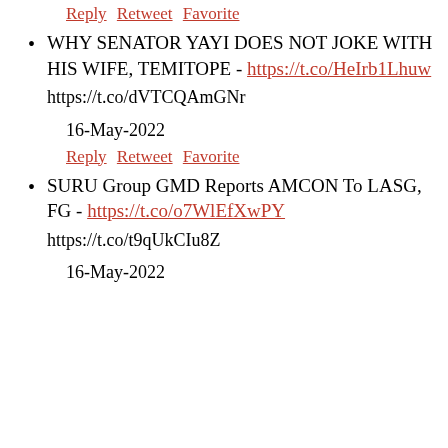Reply Retweet Favorite
WHY SENATOR YAYI DOES NOT JOKE WITH HIS WIFE, TEMITOPE - https://t.co/HeIrb1Lhuw
https://t.co/dVTCQAmGNr
16-May-2022
Reply Retweet Favorite
SURU Group GMD Reports AMCON To LASG, FG - https://t.co/o7WlEfXwPY
https://t.co/t9qUkCIu8Z
16-May-2022